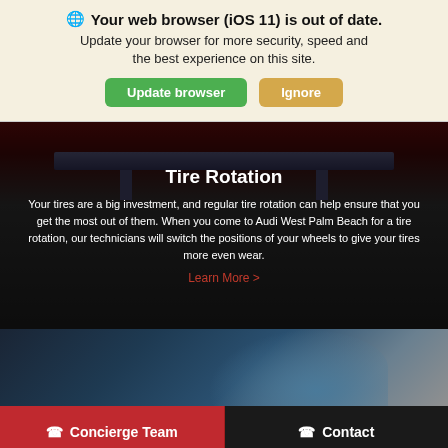🌐 Your web browser (iOS 11) is out of date. Update your browser for more security, speed and the best experience on this site.
Update browser | Ignore
[Figure (photo): Car undercarriage view from below showing tires and lift equipment in a service bay, with dark overlay. Title 'Tire Rotation' displayed with descriptive text: 'Your tires are a big investment, and regular tire rotation can help ensure that you get the most out of them. When you come to Audi West Palm Beach for a tire rotation, our technicians will switch the positions of your wheels to give your tires more even wear.' and a Learn More link.]
[Figure (photo): Partial view of a dark blue/teal Audi vehicle showing the side and wheel arch.]
Concierge Team
Contact